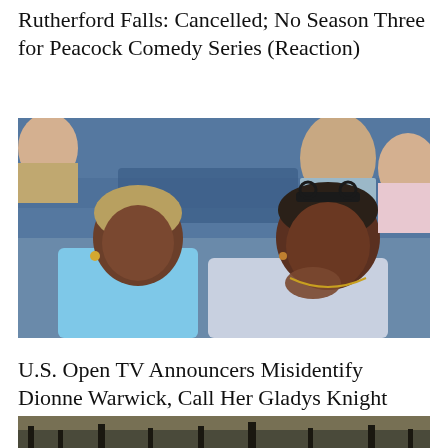Rutherford Falls: Cancelled; No Season Three for Peacock Comedy Series (Reaction)
[Figure (photo): Two women seated at what appears to be a tennis stadium. The woman on the left wears a light blue top and has short blonde-streaked hair. The woman on the right wears a light gray/lavender jacket, has sunglasses on her head, and rests her hand near her mouth. Blue stadium seats are visible in the background along with other spectators.]
U.S. Open TV Announcers Misidentify Dionne Warwick, Call Her Gladys Knight
[Figure (photo): Partial view of a dark outdoor scene, possibly showing silhouettes of people or trees against a hazy background, cropped at the bottom of the page.]